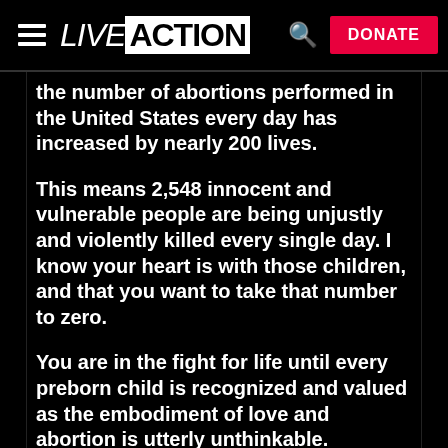LIVE ACTION | Search | DONATE
the number of abortions performed in the United States every day has increased by nearly 200 lives.
This means 2,548 innocent and vulnerable people are being unjustly and violently killed every single day. I know your heart is with those children, and that you want to take that number to zero.
You are in the fight for life until every preborn child is recognized and valued as the embodiment of love and abortion is utterly unthinkable.
Following the overturn of Roe v. Wade, the fight for life needs to be taken to a personal level - in every city, town, and state.